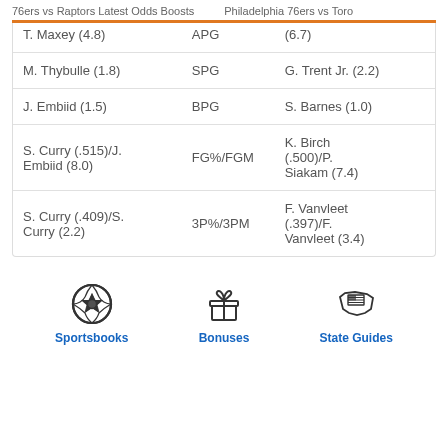76ers vs Raptors Latest Odds Boosts    Philadelphia 76ers vs Toro
|  |  |  |
| --- | --- | --- |
| T. Maxey (4.8) | APG | (6.7) |
| M. Thybulle (1.8) | SPG | G. Trent Jr. (2.2) |
| J. Embiid (1.5) | BPG | S. Barnes (1.0) |
| S. Curry (.515)/J. Embiid (8.0) | FG%/FGM | K. Birch (.500)/P. Siakam (7.4) |
| S. Curry (.409)/S. Curry (2.2) | 3P%/3PM | F. Vanvleet (.397)/F. Vanvleet (3.4) |
[Figure (infographic): Sportsbooks icon - soccer ball]
Sportsbooks
[Figure (infographic): Bonuses icon - gift box]
Bonuses
[Figure (infographic): State Guides icon - US flag on map]
State Guides